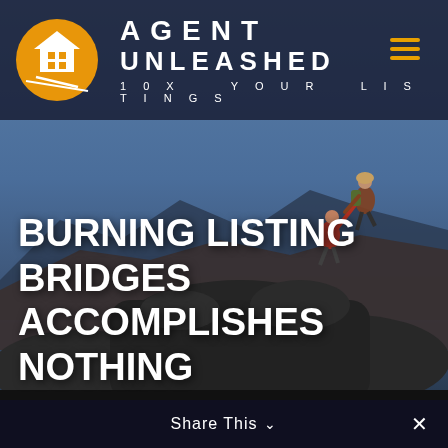[Figure (photo): Background photo of two hikers on rocky mountain terrain at dusk/dawn, one person helping pull another up to the summit, blue-gray sky in background]
[Figure (logo): Agent Unleashed logo: orange circle with white house/building silhouette icon, text AGENT UNLEASHED in white bold letters with tagline '10X YOUR LISTINGS']
BURNING LISTING BRIDGES ACCOMPLISHES NOTHING
Share This